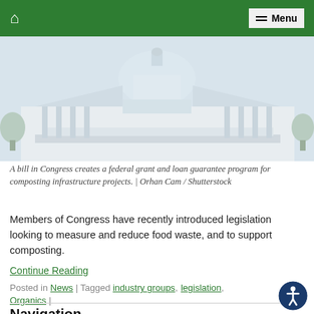Home | Menu
[Figure (photo): Photograph of the U.S. Capitol building with columns and dome visible]
A bill in Congress creates a federal grant and loan guarantee program for composting infrastructure projects. | Orhan Cam / Shutterstock
Members of Congress have recently introduced legislation looking to measure and reduce food waste, and to support composting.
Continue Reading
Posted in News | Tagged industry groups, legislation, Organics |
Navigation